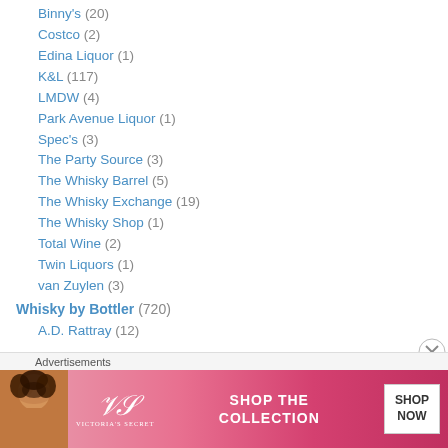Binny's (20)
Costco (2)
Edina Liquor (1)
K&L (117)
LMDW (4)
Park Avenue Liquor (1)
Spec's (3)
The Party Source (3)
The Whisky Barrel (5)
The Whisky Exchange (19)
The Whisky Shop (1)
Total Wine (2)
Twin Liquors (1)
van Zuylen (3)
Whisky by Bottler (720)
A.D. Rattray (12)
[Figure (photo): Victoria's Secret advertisement banner with a woman and 'SHOP THE COLLECTION - SHOP NOW' text]